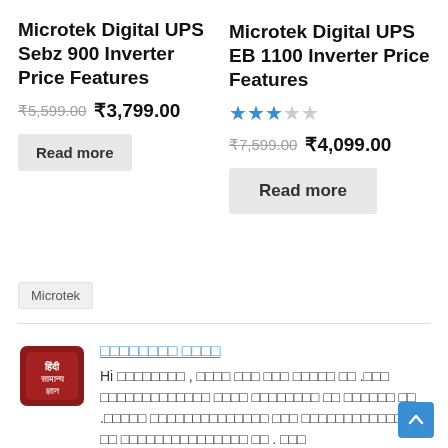Microtek Digital UPS Sebz 900 Inverter Price Features
₹5,599.00 ₹3,799.00
Read more
Microtek Digital UPS EB 1100 Inverter Price Features
Rating: 3 out of 5 stars
₹7,599.00 ₹4,099.00
Read more
Microtek
हिंदी सामान्य ज्ञान
Hi नमस्ते , आपका यहाँ स्वागत है .आप हिंदीसामान्यज्ञान बेबसाइट पर आये है .यहाँ हिंदीसामान्यज्ञान को हिंदीसामान्यज्ञान से . और